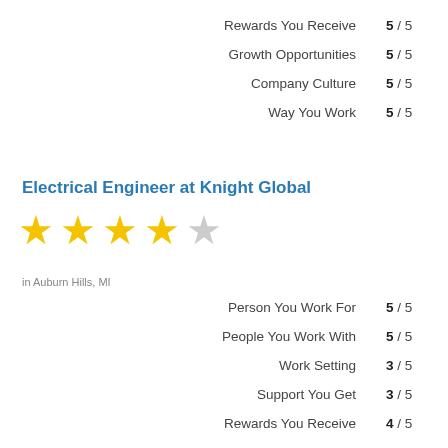Rewards You Receive  5 / 5
Growth Opportunities  5 / 5
Company Culture  5 / 5
Way You Work  5 / 5
Electrical Engineer at Knight Global
[Figure (other): 4 out of 5 stars rating: 4 gold stars and 1 grey star]
in Auburn Hills, MI
Person You Work For  5 / 5
People You Work With  5 / 5
Work Setting  3 / 5
Support You Get  3 / 5
Rewards You Receive  4 / 5